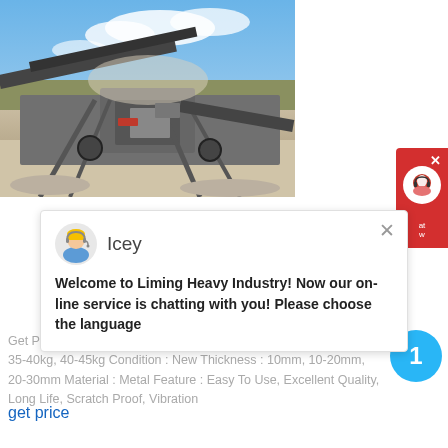[Figure (photo): Industrial mining/crushing plant with conveyor belts, machinery, and dust in outdoor quarry setting under blue sky with clouds]
[Figure (screenshot): Chat popup widget from Liming Heavy Industry website showing agent named Icey with welcome message asking user to choose language]
Get Price Quote. Loading Capacity : 10-15kg, 15-20kg, 20-30kg, 35-40kg, 40-45kg Condition : New Thickness : 10mm, 10-20mm, 20-30mm Material : Metal Feature : Easy To Use, Excellent Quality, Long Life, Scratch Proof, Vibration
get price